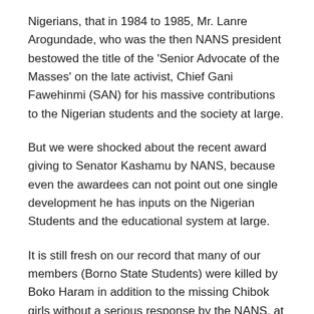Nigerians, that in 1984 to 1985, Mr. Lanre Arogundade, who was the then NANS president bestowed the title of the 'Senior Advocate of the Masses' on the late activist, Chief Gani Fawehinmi (SAN) for his massive contributions to the Nigerian students and the society at large.
But we were shocked about the recent award giving to Senator Kashamu by NANS, because even the awardees can not point out one single development he has inputs on the Nigerian Students and the educational system at large.
It is still fresh on our record that many of our members (Borno State Students) were killed by Boko Haram in addition to the missing Chibok girls without a serious response by the NANS, at the same vain NANS has never visit Borno to sympathize to us.